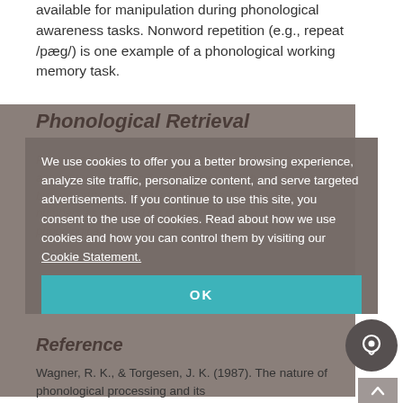available for manipulation during phonological awareness tasks. Nonword repetition (e.g., repeat /pæg/) is one example of a phonological working memory task.
Phonological Retrieval
Phonological retrieval is the ability to recall the phonemes associated with specific graphemes, which can be assessed by rapid automatic naming tasks, which use letters and numbers as stimuli. This skill, which is also integral to phonological awareness.
We use cookies to offer you a better browsing experience, analyze site traffic, personalize content, and serve targeted advertisements. If you continue to use this site, you consent to the use of cookies. Read about how we use cookies and how you can control them by visiting our Cookie Statement.
Reference
Wagner, R. K., & Torgesen, J. K. (1987). The nature of phonological processing and its